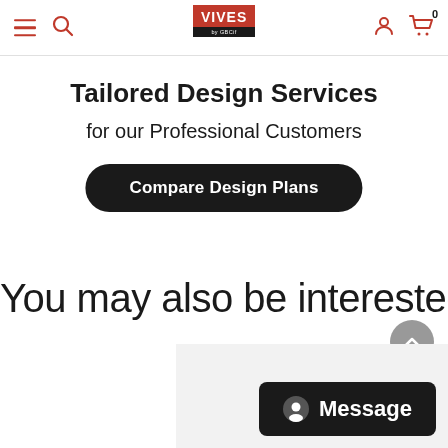[Figure (screenshot): Website navigation bar with hamburger menu, search icon, VIVES by GBCif logo (red), user icon, and cart icon with badge 0]
Tailored Design Services
for our Professional Customers
Compare Design Plans
You may also be interested in
[Figure (screenshot): Message chat button (dark rounded rectangle) with circle icon and 'Message' text, partially visible card in bottom right]